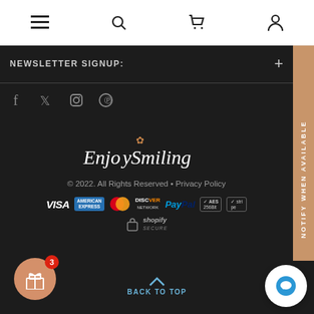Navigation bar with hamburger menu, search, cart, and user icons
NEWSLETTER SIGNUP:
[Figure (illustration): Social media icons: Facebook, Twitter, Instagram, Pinterest]
[Figure (logo): EnjoySmiling brand logo with flower decoration]
© 2022. All Rights Reserved • Privacy Policy
[Figure (illustration): Payment method icons: VISA, American Express, Mastercard, Discover Network, PayPal, AES 256bit, Stripe, Shopify Secure]
NOTIFY WHEN AVAILABLE
BACK TO TOP